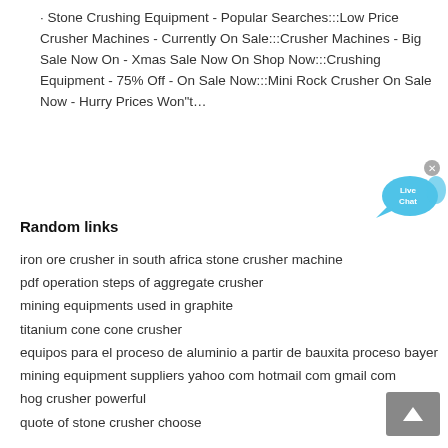· Stone Crushing Equipment - Popular Searches:::Low Price Crusher Machines - Currently On Sale:::Crusher Machines - Big Sale Now On - Xmas Sale Now On Shop Now:::Crushing Equipment - 75% Off - On Sale Now:::Mini Rock Crusher On Sale Now - Hurry Prices Won"t…
[Figure (illustration): Live Chat speech bubble icon in blue with 'Live Chat' text and a close (x) button]
Random links
iron ore crusher in south africa stone crusher machine
pdf operation steps of aggregate crusher
mining equipments used in graphite
titanium cone cone crusher
equipos para el proceso de aluminio a partir de bauxita proceso bayer
mining equipment suppliers yahoo com hotmail com gmail com
hog crusher powerful
quote of stone crusher choose